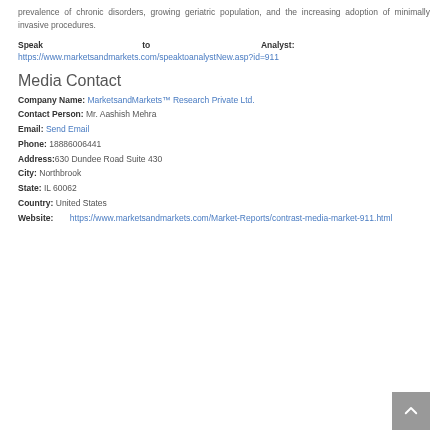prevalence of chronic disorders, growing geriatric population, and the increasing adoption of minimally invasive procedures.
Speak to Analyst: https://www.marketsandmarkets.com/speaktoanalystNew.asp?id=911
Media Contact
Company Name: MarketsandMarkets™ Research Private Ltd.
Contact Person: Mr. Aashish Mehra
Email: Send Email
Phone: 18886006441
Address:630 Dundee Road Suite 430
City: Northbrook
State: IL 60062
Country: United States
Website: https://www.marketsandmarkets.com/Market-Reports/contrast-media-market-911.html